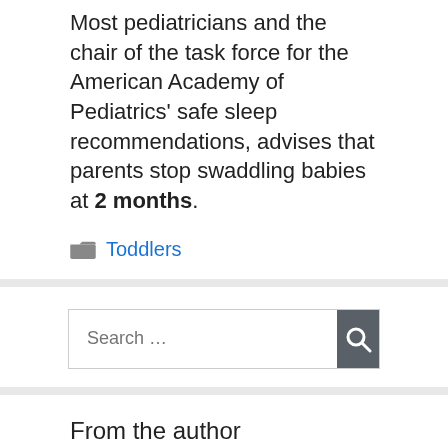Most pediatricians and the chair of the task force for the American Academy of Pediatrics' safe sleep recommendations, advises that parents stop swaddling babies at 2 months.
Toddlers
Search ...
From the author
[Figure (photo): Partial photo of a person, showing top of head with dark hair, cropped at bottom of page.]